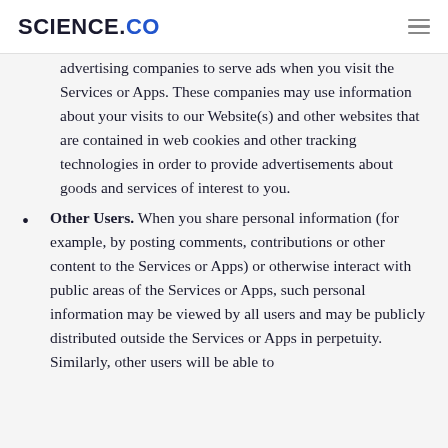SCIENCE.CO
advertising companies to serve ads when you visit the Services or Apps. These companies may use information about your visits to our Website(s) and other websites that are contained in web cookies and other tracking technologies in order to provide advertisements about goods and services of interest to you.
Other Users. When you share personal information (for example, by posting comments, contributions or other content to the Services or Apps) or otherwise interact with public areas of the Services or Apps, such personal information may be viewed by all users and may be publicly distributed outside the Services or Apps in perpetuity. Similarly, other users will be able to